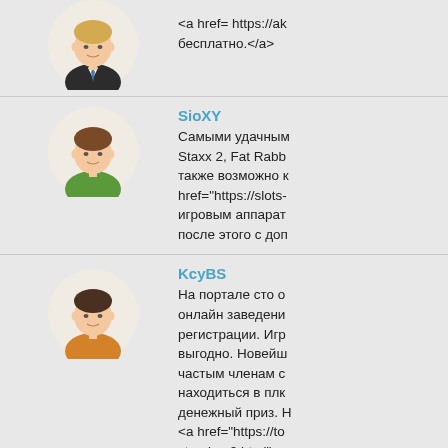[Figure (illustration): Avatar of first user (man in suit with blue tie, blonde hair)]
<a href= https://ak бесплатно.</a>
[Figure (illustration): Avatar of SioXY (man with brown hair, green shirt)]
SioXY
Самыми удачным Staxx 2, Fat Rabb также возможно к href="https://slots- игровым аппарат после этого с доп
[Figure (illustration): Avatar of KcyBS (man with dark hair, orange shirt)]
KcyBS
На портале сто о онлайн заведени регистрации. Игр выгодно. Новейш частым членам с находиться в плк денежный приз. Н <a href="https://to stranica-2.html">и
[Figure (illustration): Avatar of AgsJY (man with blonde hair, suit with blue tie)]
AgsJY
https://tattootop.ru
[Figure (illustration): Avatar of GryOS (partially visible at bottom)]
GryOS